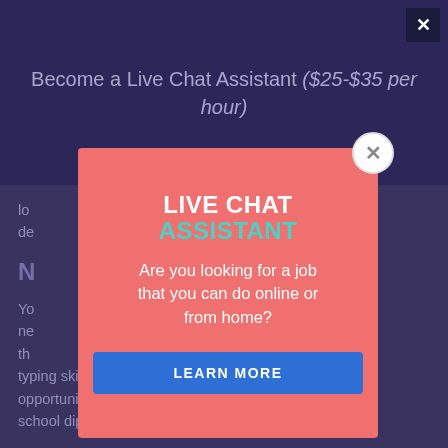Become a Live Chat Assistant ($25-$35 per hour)
typing skill are tough to find and most online opportunities do not need less than a high school diploma.
[Figure (screenshot): Popup modal overlay on a dark purple webpage background. The popup has a salmon/coral red background and contains the title 'LIVE CHAT ASSISTANT' in bold white and teal text, followed by the question 'Are you looking for a job that you can do online or from home?' in white, and a blue 'LEARN MORE' button. A circular close button with an X is in the top-right corner of the popup. The underlying page shows a dark purple background with text 'Become a Live Chat Assistant ($25-$35 per hour)' at the top and body text partially visible behind the modal.]